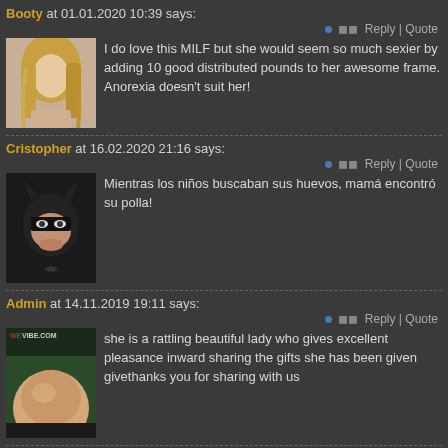Booty at 01.01.2020 10:39 says:
Reply | Quote
I do love this MILF but she would seem so much sexier by adding 10 good distributed pounds to her awesome frame. Anorexia doesn't suit her!
Cristopher at 16.02.2020 21:16 says:
Reply | Quote
Mientras los niños buscaban sus huevos, mamá encontró su polla!
Admin at 14.11.2019 19:11 says:
Reply | Quote
she is a rattling beautiful lady who gives excellent pleasance inward sharing the gifts she has been given givethanks you for sharing with us